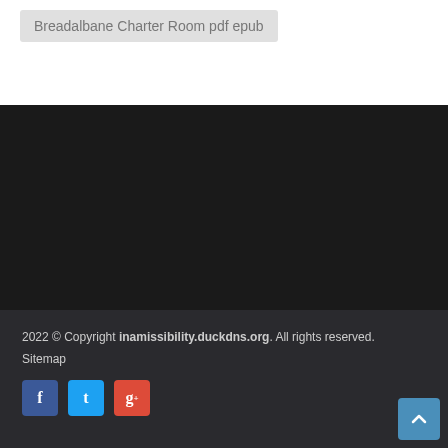Breadalbane Charter Room pdf epub
2022 © Copyright inamissibility.duckdns.org. All rights reserved.
Sitemap